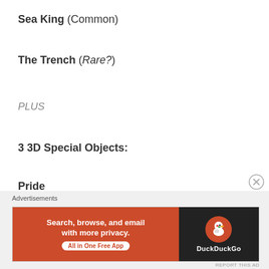Sea King (Common)
The Trench (Rare?)
PLUS
3 3D Special Objects:
Pride
Lust
Envy
Advertisements — DuckDuckGo: Search, browse, and email with more privacy. All in One Free App